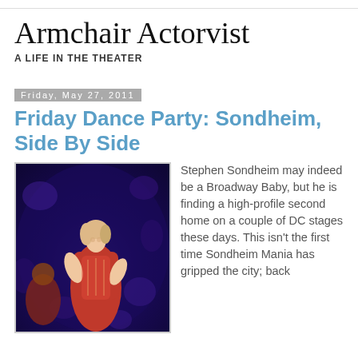Armchair Actorvist
A LIFE IN THE THEATER
Friday, May 27, 2011
Friday Dance Party: Sondheim, Side By Side
[Figure (photo): A woman in a red sequined gown performing on stage against a blue floral backdrop, with a man visible behind her.]
Stephen Sondheim may indeed be a Broadway Baby, but he is finding a high-profile second home on a couple of DC stages these days. This isn't the first time Sondheim Mania has gripped the city; back